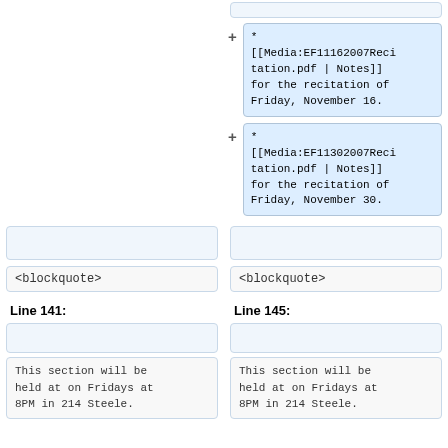* [[Media:EF11162007Recitation.pdf | Notes]] for the recitation of Friday, November 16.
* [[Media:EF11302007Recitation.pdf | Notes]] for the recitation of Friday, November 30.
<blockquote>
<blockquote>
Line 141:
Line 145:
This section will be held at on Fridays at 8PM in 214 Steele.
This section will be held at on Fridays at 8PM in 214 Steele.